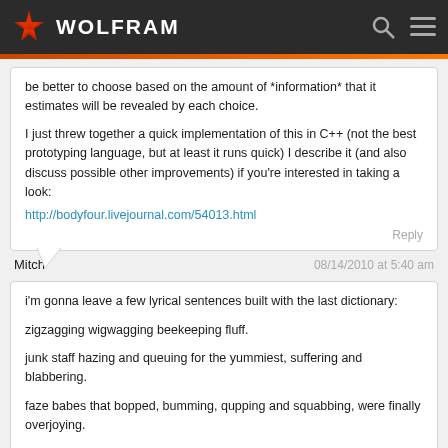WOLFRAM
be better to choose based on the amount of *information* that it estimates will be revealed by each choice.

I just threw together a quick implementation of this in C++ (not the best prototyping language, but at least it runs quick) I describe it (and also discuss possible other improvements) if you're interested in taking a look:
http://bodyfour.livejournal.com/54013.html
Mitch   08/14/2010 at 5:40 am
i'm gonna leave a few lyrical sentences built with the last dictionary:

zigzagging wigwagging beekeeping fluff.

junk staff hazing and queuing for the yummiest, suffering and blabbering.

faze babes that bopped, bumming, qupping and squabbing, were finally overjoying.

enjoy.
/ warm regards, the amazing poet